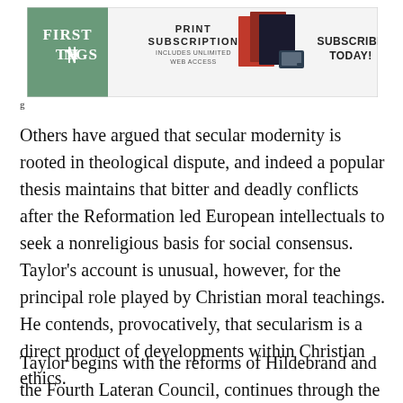[Figure (infographic): First Things magazine advertisement banner: green logo block on left reading FIRST THINGS, center text PRINT SUBSCRIPTION INCLUDES UNLIMITED WEB ACCESS, magazine cover images in center-right, SUBSCRIBE TODAY! text on right]
g
Others have argued that secular modernity is rooted in theological dispute, and indeed a popular thesis maintains that bitter and deadly conflicts after the Reformation led European intellectuals to seek a nonreligious basis for social consensus. Taylor's account is unusual, however, for the principal role played by Christian moral teachings. He contends, provocatively, that secularism is a direct product of developments within Christian ethics.
Taylor begins with the reforms of Hildebrand and the Fourth Lateran Council, continues through the Protestant and Catholic Reformations, and covers the